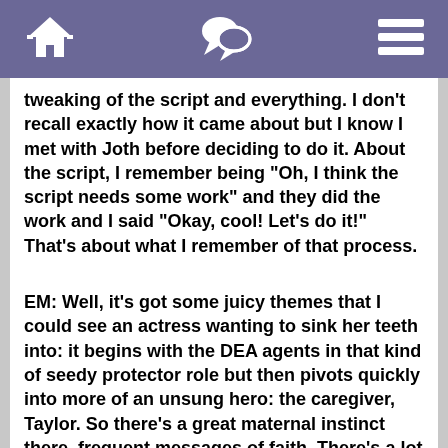[navigation bar with home, chat, and menu icons]
tweaking of the script and everything. I don't recall exactly how it came about but I know I met with Joth before deciding to do it. About the script, I remember being “Oh, I think the script needs some work” and they did the work and I said “Okay, cool! Let’s do it!” That’s about what I remember of that process.
EM: Well, it’s got some juicy themes that I could see an actress wanting to sink her teeth into: it begins with the DEA agents in that kind of seedy protector role but then pivots quickly into more of an unsung hero: the caregiver, Taylor. So there’s a great maternal instinct there, frequent messages of faith. There’s a lot going on in the film that I could see someone being like “That’s the story I want to tell.”
NH: Yeah, the character had an arc and great characters